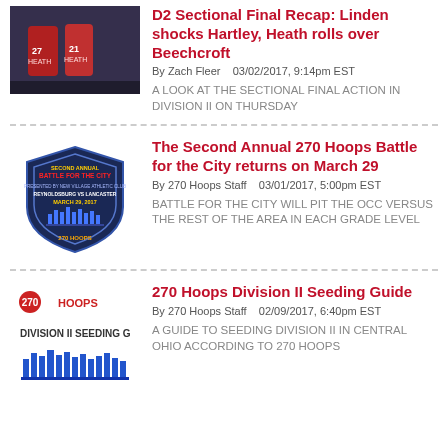[Figure (photo): Basketball players in red uniforms (Heath/Linden players)]
D2 Sectional Final Recap: Linden shocks Hartley, Heath rolls over Beechcroft
By Zach Fleer   03/02/2017, 9:14pm EST
A LOOK AT THE SECTIONAL FINAL ACTION IN DIVISION II ON THURSDAY
[Figure (logo): Second Annual Battle for the City 270 Hoops badge/shield logo, March 29, 2017]
The Second Annual 270 Hoops Battle for the City returns on March 29
By 270 Hoops Staff   03/01/2017, 5:00pm EST
BATTLE FOR THE CITY WILL PIT THE OCC VERSUS THE REST OF THE AREA IN EACH GRADE LEVEL
[Figure (logo): 270 Hoops Division II Seeding Guide logo with blue city skyline graphic]
270 Hoops Division II Seeding Guide
By 270 Hoops Staff   02/09/2017, 6:40pm EST
A GUIDE TO SEEDING DIVISION II IN CENTRAL OHIO ACCORDING TO 270 HOOPS